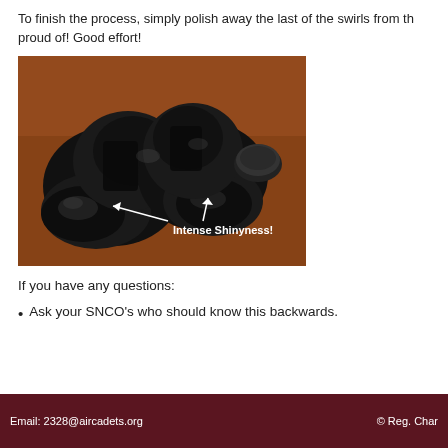To finish the process, simply polish away the last of the swirls from th... proud of! Good effort!
[Figure (photo): Photo of two shiny black dress shoes on a brown carpet with a tin of shoe polish nearby. White arrows point to the toe caps with the label 'Intense Shinyness!']
If you have any questions:
Ask your SNCO's who should know this backwards.
Email: 2328@aircadets.org   © Reg. Char